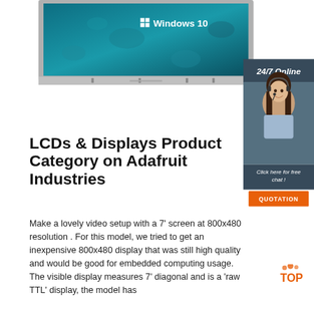[Figure (photo): A monitor/display showing Windows 10 desktop with the Windows logo and 'Windows 10' text on a blue/teal water droplet background. The monitor has a silver/grey bezel with control buttons along the bottom.]
[Figure (photo): A 24/7 online chat widget panel with dark blue-grey background showing a woman with a headset smiling, 'Click here for free chat!' text in italic, and an orange 'QUOTATION' button. Header says '24/7 Online'.]
LCDs & Displays Product Category on Adafruit Industries
Make a lovely video setup with a 7' screen at 800x480 resolution . For this model, we tried to get an inexpensive 800x480 display that was still high quality and would be good for embedded computing usage. The visible display measures 7' diagonal and is a 'raw TTL' display, the model has